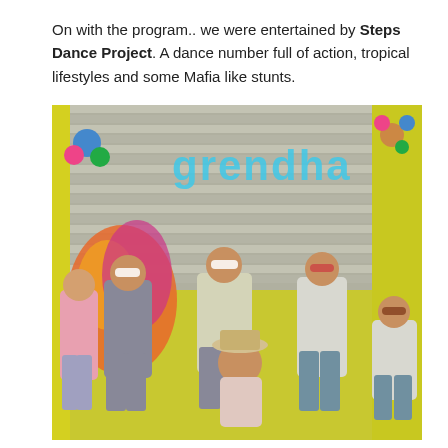On with the program.. we were entertained by Steps Dance Project. A dance number full of action, tropical lifestyles and some Mafia like stunts.
[Figure (photo): Group of dancers in retro-style colorful outfits wearing sunglasses performing on stage in front of a 'grendha' branded backdrop with tropical decorations.]